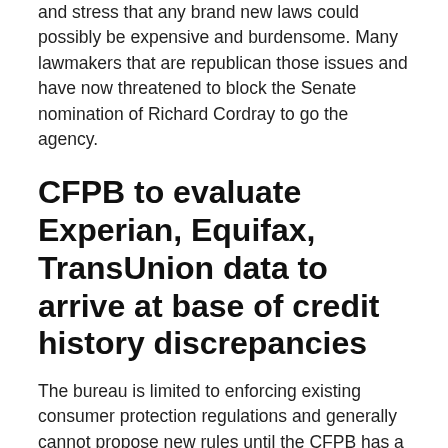and stress that any brand new laws could possibly be expensive and burdensome. Many lawmakers that are republican those issues and have now threatened to block the Senate nomination of Richard Cordray to go the agency.
CFPB to evaluate Experian, Equifax, TransUnion data to arrive at base of credit history discrepancies
The bureau is limited to enforcing existing consumer protection regulations and generally cannot propose new rules until the CFPB has a confirmed director in place. Trying to find the most effective discounts on credit cards is notoriously hard. Information on rewards programs are difficult to locate, and comparing charges and APRs is challenging considering that the field